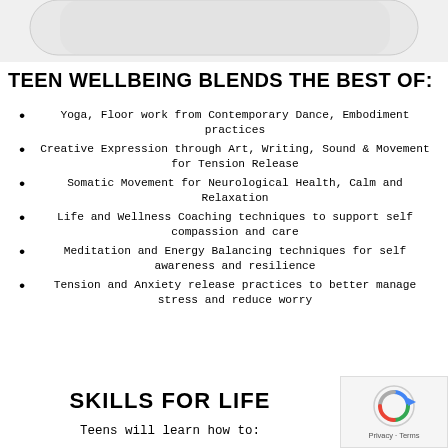[Figure (photo): Partial top image showing a rounded rectangle or device, mostly white/grey tones, cropped at top of page]
TEEN WELLBEING BLENDS THE BEST OF:
Yoga, Floor work from Contemporary Dance, Embodiment practices
Creative Expression through Art, Writing, Sound & Movement for Tension Release
Somatic Movement for Neurological Health, Calm and Relaxation
Life and Wellness Coaching techniques to support self compassion and care
Meditation and Energy Balancing techniques for self awareness and resilience
Tension and Anxiety release practices to better manage stress and reduce worry
SKILLS FOR LIFE
Teens will learn how to:
[Figure (logo): reCAPTCHA widget with blue/grey arrow icon and Privacy · Terms text]